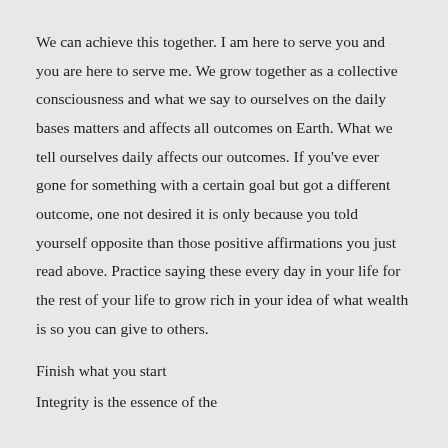We can achieve this together. I am here to serve you and you are here to serve me. We grow together as a collective consciousness and what we say to ourselves on the daily bases matters and affects all outcomes on Earth. What we tell ourselves daily affects our outcomes. If you've ever gone for something with a certain goal but got a different outcome, one not desired it is only because you told yourself opposite than those positive affirmations you just read above. Practice saying these every day in your life for the rest of your life to grow rich in your idea of what wealth is so you can give to others.
Finish what you start
Integrity is the essence of the...